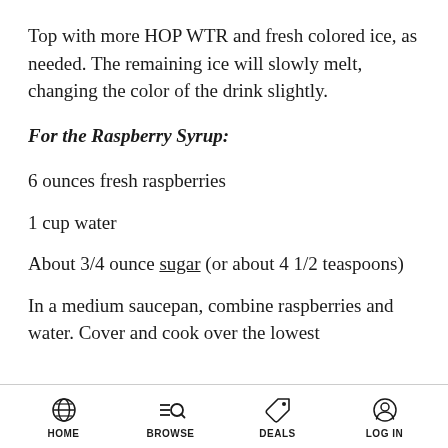Top with more HOP WTR and fresh colored ice, as needed. The remaining ice will slowly melt, changing the color of the drink slightly.
For the Raspberry Syrup:
6 ounces fresh raspberries
1 cup water
About 3/4 ounce sugar (or about 4 1/2 teaspoons)
In a medium saucepan, combine raspberries and water. Cover and cook over the lowest
HOME   BROWSE   DEALS   LOG IN